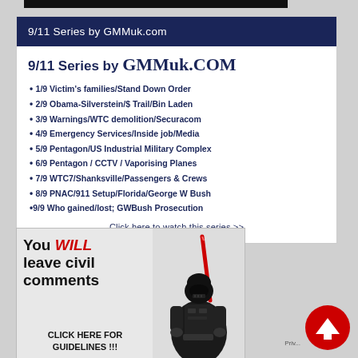9/11 Series by GMMuk.com
9/11 Series by GMMuk.COM
1/9 Victim's families/Stand Down Order
2/9 Obama-Silverstein/$ Trail/Bin Laden
3/9 Warnings/WTC demolition/Securacom
4/9 Emergency Services/Inside job/Media
5/9 Pentagon/US Industrial Military Complex
6/9 Pentagon / CCTV / Vaporising Planes
7/9 WTC7/Shanksville/Passengers & Crews
8/9 PNAC/911 Setup/Florida/George W Bush
9/9 Who gained/lost; GWBush Prosecution
Click here to watch this series >>
[Figure (illustration): Darth Vader Lego figure holding a red lightsaber with text 'You WILL leave civil comments' and 'CLICK HERE FOR GUIDELINES!!!']